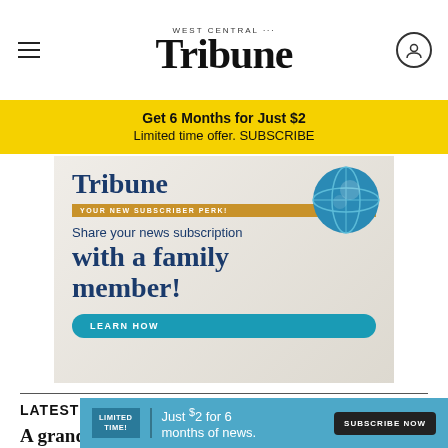West Central Tribune
Get 6 Months for Just $2 Limited time offer. SUBSCRIBE
[Figure (infographic): Tribune subscription ad: 'Share your news subscription with a family member!' with LEARN HOW button and globe icon]
LATEST HEADLINES
A grand at the Garrison in Nevis
Realistic stone murals of various shapes
LIMITED TIME! Just $2 for 6 months of news. SUBSCRIBE NOW